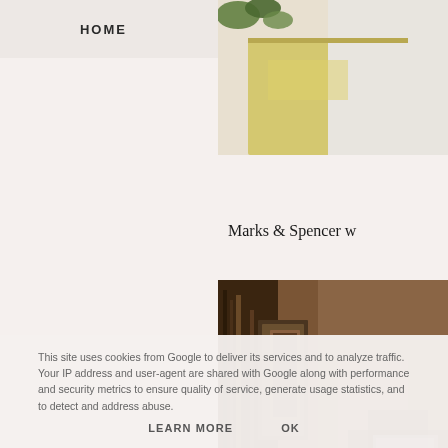HOME
[Figure (photo): Partial photo of a table with plant and yellow fabric, cropped at top-right]
Marks & Spencer w
[Figure (photo): Dimly lit room with framed canvases and artwork stacked against a brown wall]
This site uses cookies from Google to deliver its services and to analyze traffic. Your IP address and user-agent are shared with Google along with performance and security metrics to ensure quality of service, generate usage statistics, and to detect and address abuse.
LEARN MORE    OK